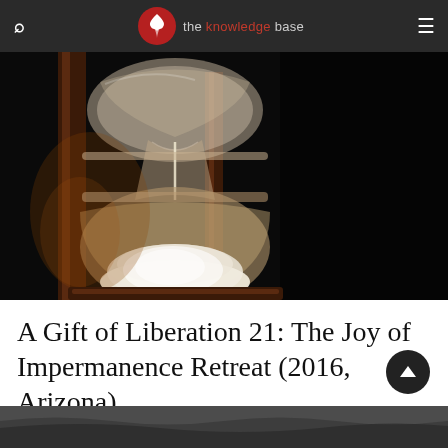the knowledge base — navigation bar with search and menu icons
[Figure (photo): Close-up photograph of an hourglass with sand flowing, dark background with warm amber/brown tones on the glass and wooden frame]
A Gift of Liberation 21: The Joy of Impermanence Retreat (2016, Arizona)
[Figure (photo): Partial bottom strip of a second photograph, dark greyscale tones]